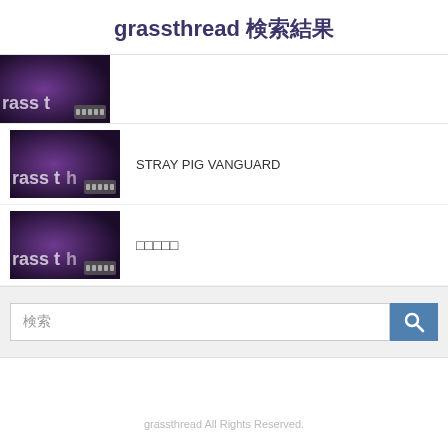grassthread 検索結果
[Figure (screenshot): Thumbnail image with purple/dark tones showing 'rass t' text and small icon]
STRAY PIG VANGUARD
[Figure (screenshot): Thumbnail image with purple/dark tones showing 'rass th' text and small icon]
曲名テキスト
[Figure (screenshot): Thumbnail image with purple/dark tones showing 'rass th' text and small icon]
grassthread All Rights Reserved.